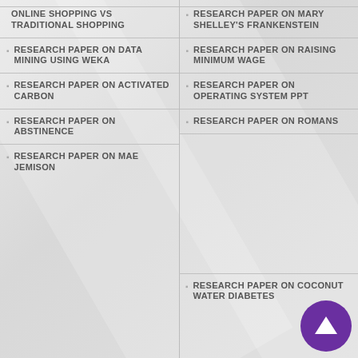ONLINE SHOPPING VS TRADITIONAL SHOPPING
RESEARCH PAPER ON DATA MINING USING WEKA
RESEARCH PAPER ON ACTIVATED CARBON
RESEARCH PAPER ON ABSTINENCE
RESEARCH PAPER ON MAE JEMISON
RESEARCH PAPER ON MARY SHELLEY'S FRANKENSTEIN
RESEARCH PAPER ON RAISING MINIMUM WAGE
RESEARCH PAPER ON OPERATING SYSTEM PPT
RESEARCH PAPER ON ROMANS
RESEARCH PAPER ON COCONUT WATER DIABETES